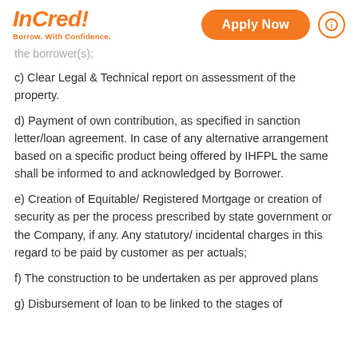InCred! Borrow. With Confidence. | Apply Now
the borrower(s);
c) Clear Legal & Technical report on assessment of the property.
d) Payment of own contribution, as specified in sanction letter/loan agreement. In case of any alternative arrangement based on a specific product being offered by IHFPL the same shall be informed to and acknowledged by Borrower.
e) Creation of Equitable/ Registered Mortgage or creation of security as per the process prescribed by state government or the Company, if any. Any statutory/ incidental charges in this regard to be paid by customer as per actuals;
f) The construction to be undertaken as per approved plans
g) Disbursement of loan to be linked to the stages of